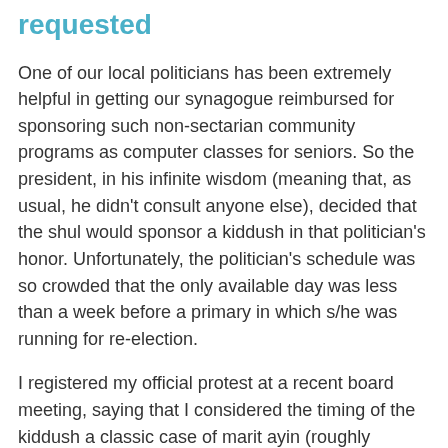requested
One of our local politicians has been extremely helpful in getting our synagogue reimbursed for sponsoring such non-sectarian community programs as computer classes for seniors. So the president, in his infinite wisdom (meaning that, as usual, he didn't consult anyone else), decided that the shul would sponsor a kiddush in that politician's honor. Unfortunately, the politician's schedule was so crowded that the only available day was less than a week before a primary in which s/he was running for re-election.
I registered my official protest at a recent board meeting, saying that I considered the timing of the kiddush a classic case of marit ayin (roughly translated, "it looks bad"), since I thought that the congregation was skating dangerously close to endorsing a candidate, an action prohibited by law for any not-for-profit organization. I quoted the old saying, "If it looks like a duck and it walks like a duck and it quacks like a duck, it's a duck." The charge was roundly denied by everyone, including my husband, on the grounds that the kiddush was not publicized outside of our synagogue and there were no